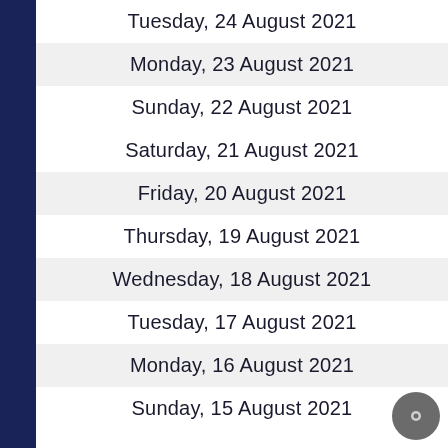Tuesday, 24 August 2021
Monday, 23 August 2021
Sunday, 22 August 2021
Saturday, 21 August 2021
Friday, 20 August 2021
Thursday, 19 August 2021
Wednesday, 18 August 2021
Tuesday, 17 August 2021
Monday, 16 August 2021
Sunday, 15 August 2021